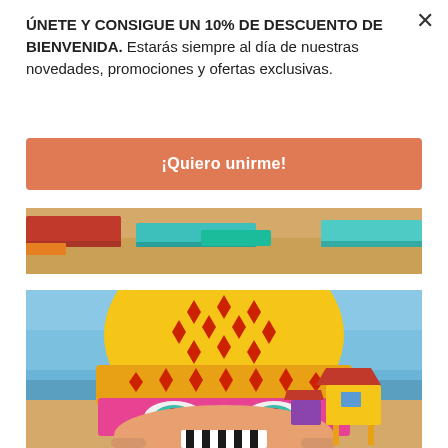ÚNETE Y CONSIGUE UN 10% DE DESCUENTO DE BIENVENIDA. Estarás siempre al día de nuestras novedades, promociones y ofertas exclusivas.
×
¡Quiero unirme!
[Figure (photo): Beach scene with colorful inflatable mats on sandy beach]
[Figure (photo): Large colorful face mask sculpture held up against a blue sky on a beach, with a lifeguard tower in the background. The mask is yellow and orange with red diamond patterns, pink horizontal band across the eyes, teal eyes, and black and white stripes on the bottom portion.]